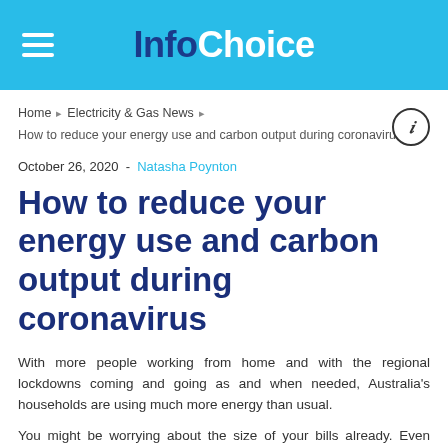InfoChoice
Home > Electricity & Gas News > How to reduce your energy use and carbon output during coronavirus
October 26, 2020  -  Natasha Poynton
How to reduce your energy use and carbon output during coronavirus
With more people working from home and with the regional lockdowns coming and going as and when needed, Australia's households are using much more energy than usual.
You might be worrying about the size of your bills already. Even though you can claim 80 cents an hour as a tax deduction that includes costs of your energy use if you're working from home, you might be wondering further reducing that energy use.